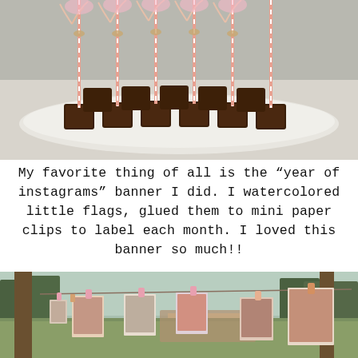[Figure (photo): Close-up photo of brownies on a white platter with striped paper straw sticks inserted into them, wrapped with ribbons and twine, on a white tablecloth at an outdoor party.]
My favorite thing of all is the “year of instagrams” banner I did. I watercolored little flags, glued them to mini paper clips to label each month. I loved this banner so much!!
[Figure (photo): Outdoor photo of a 'year of instagrams' photo banner strung between trees with photos clipped to a line using clothespins, with a grassy park and trees visible in the background.]